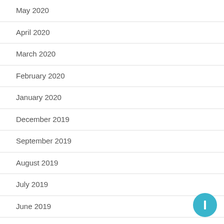May 2020
April 2020
March 2020
February 2020
January 2020
December 2019
September 2019
August 2019
July 2019
June 2019